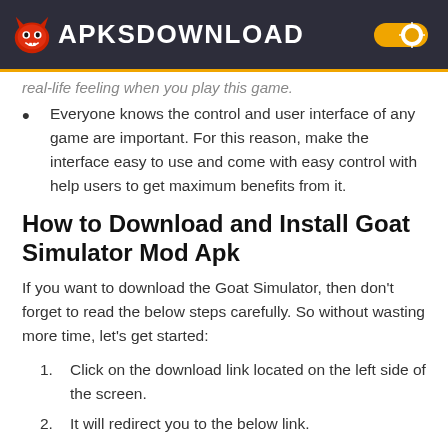APKSDOWNLOAD
real-life feeling when you play this game.
Everyone knows the control and user interface of any game are important. For this reason, make the interface easy to use and come with easy control with help users to get maximum benefits from it.
How to Download and Install Goat Simulator Mod Apk
If you want to download the Goat Simulator, then don't forget to read the below steps carefully. So without wasting more time, let's get started:
1. Click on the download link located on the left side of the screen.
2. It will redirect you to the below link.